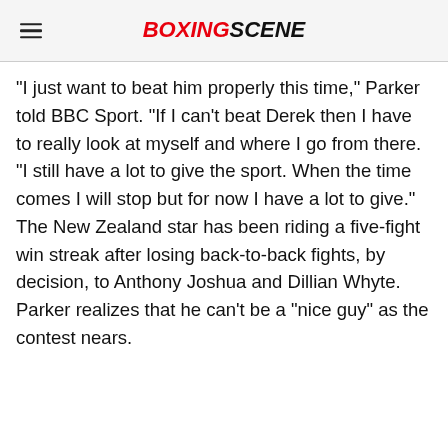BOXINGSCENE
"I just want to beat him properly this time," Parker told BBC Sport. "If I can't beat Derek then I have to really look at myself and where I go from there.
"I still have a lot to give the sport. When the time comes I will stop but for now I have a lot to give."
The New Zealand star has been riding a five-fight win streak after losing back-to-back fights, by decision, to Anthony Joshua and Dillian Whyte.
Parker realizes that he can't be a "nice guy" as the contest nears.